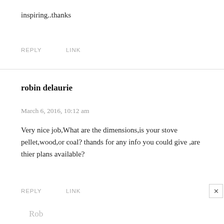inspiring..thanks
REPLY   LINK
robin delaurie
March 6, 2016, 10:12 am
Very nice job,What are the dimensions,is your stove pellet,wood,or coal? thands for any info you could give ,are thier plans available?
REPLY   LINK
Rob